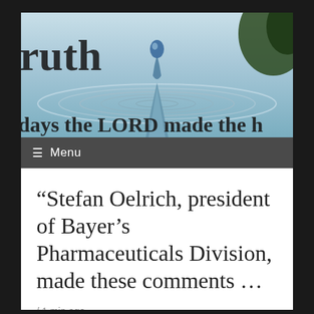[Figure (screenshot): Website header image showing a water droplet splash with ripples on a blue background. Partial text visible: 'ruth' on the left and 'days the LORD made the h' along the bottom. A water droplet is suspended mid-air in the center.]
≡  Menu
“Stefan Oelrich, president of Bayer’s Pharmaceuticals Division, made these comments …
/ 1 min ago